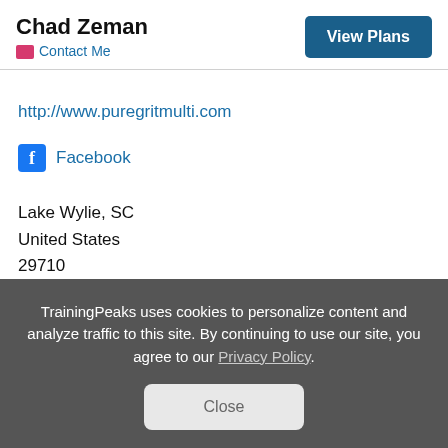Chad Zeman
Contact Me
View Plans
http://www.puregritmulti.com
Facebook
Lake Wylie, SC
United States
29710
TrainingPeaks uses cookies to personalize content and analyze traffic to this site. By continuing to use our site, you agree to our Privacy Policy.
Close